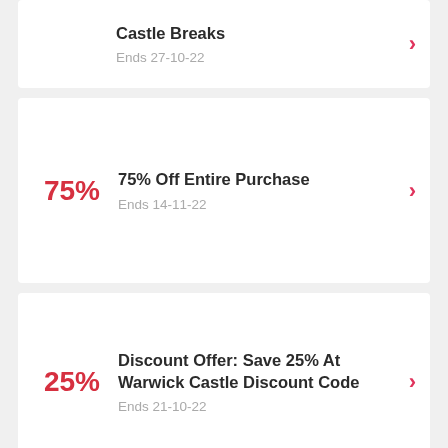Castle Breaks — Ends 27-10-22
75% Off Entire Purchase — Ends 14-11-22
Discount Offer: Save 25% At Warwick Castle Discount Code — Ends 21-10-22